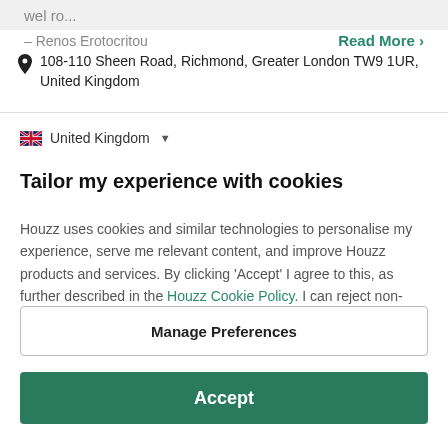wel ro...
– Renos Erotocritou
Read More >
108-110 Sheen Road, Richmond, Greater London TW9 1UR, United Kingdom
United Kingdom
Tailor my experience with cookies
Houzz uses cookies and similar technologies to personalise my experience, serve me relevant content, and improve Houzz products and services. By clicking 'Accept' I agree to this, as further described in the Houzz Cookie Policy. I can reject non-
Manage Preferences
Accept